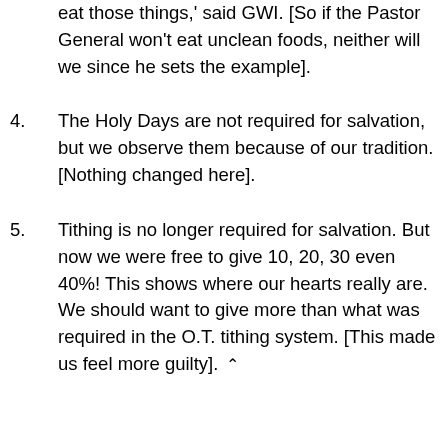eat those things,' said GWl. [So if the Pastor General won't eat unclean foods, neither will we since he sets the example].
4.  The Holy Days are not required for salvation, but we observe them because of our tradition. [Nothing changed here].
5.  Tithing is no longer required for salvation. But now we were free to give 10, 20, 30 even 40%! This shows where our hearts really are. We should want to give more than what was required in the O.T. tithing system. [This made us feel more guilty]. ^